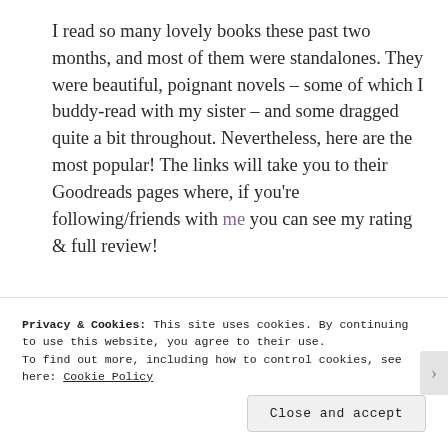I read so many lovely books these past two months, and most of them were standalones. They were beautiful, poignant novels – some of which I buddy-read with my sister – and some dragged quite a bit throughout. Nevertheless, here are the most popular! The links will take you to their Goodreads pages where, if you're following/friends with me you can see my rating & full review!
[Figure (illustration): Painting of a house on a hill with chimneys against a muted sky background]
This is one of the most beautiful
Privacy & Cookies: This site uses cookies. By continuing to use this website, you agree to their use.
To find out more, including how to control cookies, see here: Cookie Policy